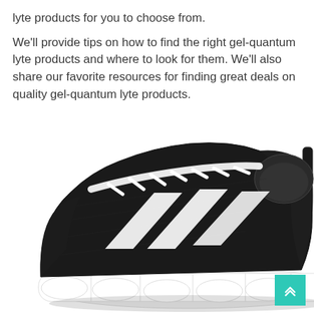lyte products for you to choose from.

We'll provide tips on how to find the right gel-quantum lyte products and where to look for them. We'll also share our favorite resources for finding great deals on quality gel-quantum lyte products.
[Figure (photo): Black and white ASICS Gel-Quantum Lyte running sneaker shown from the side, with white laces, distinctive ASICS chevron logo stripes in white on black mesh upper, and white chunky sole.]